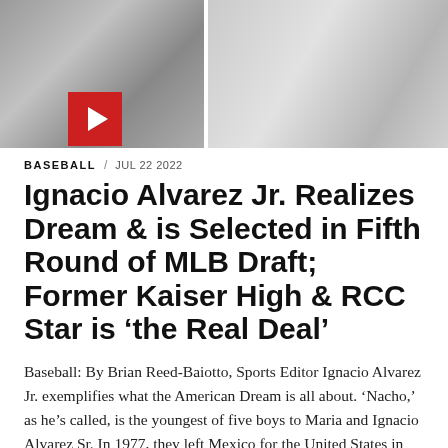[Figure (photo): Black and white composite photo banner showing baseball players; a red play button icon overlaid on the lower-left portion of the image]
BASEBALL/ JUL 22 2022
Ignacio Alvarez Jr. Realizes Dream & is Selected in Fifth Round of MLB Draft; Former Kaiser High & RCC Star is ‘the Real Deal’
Baseball: By Brian Reed-Baiotto, Sports Editor Ignacio Alvarez Jr. exemplifies what the American Dream is all about. ‘Nacho,’ as he’s called, is the youngest of five boys to Maria and Ignacio Alvarez Sr. In 1977, they left Mexico for the United States in the hopes of a better life. Fast forward 45 years, and Mr. [...]
By Brian Baiotto